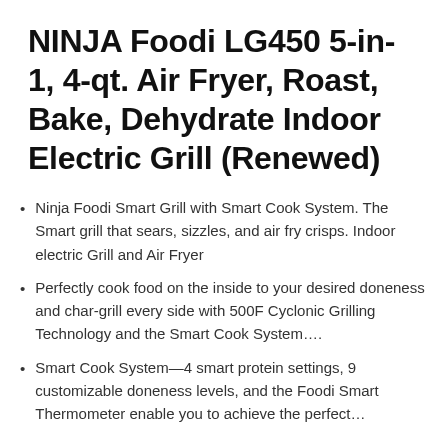NINJA Foodi LG450 5-in-1, 4-qt. Air Fryer, Roast, Bake, Dehydrate Indoor Electric Grill (Renewed)
Ninja Foodi Smart Grill with Smart Cook System. The Smart grill that sears, sizzles, and air fry crisps. Indoor electric Grill and Air Fryer
Perfectly cook food on the inside to your desired doneness and char-grill every side with 500F Cyclonic Grilling Technology and the Smart Cook System….
Smart Cook System—4 smart protein settings, 9 customizable doneness levels, and the Foodi Smart Thermometer enable you to achieve the perfect…